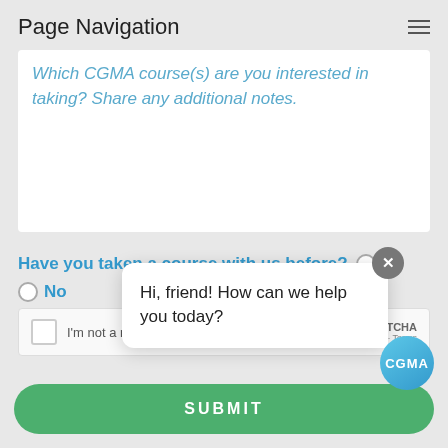Page Navigation
Which CGMA course(s) are you interested in taking? Share any additional notes.
Have you taken a course with us before?  ○ Yes
○ No
I'm not a robot
reCAPTCHA
Privacy · Terms
SUBMIT
[Figure (screenshot): Chat popup with close button (x) and text: Hi, friend! How can we help you today?]
[Figure (logo): CGMA circular badge button]